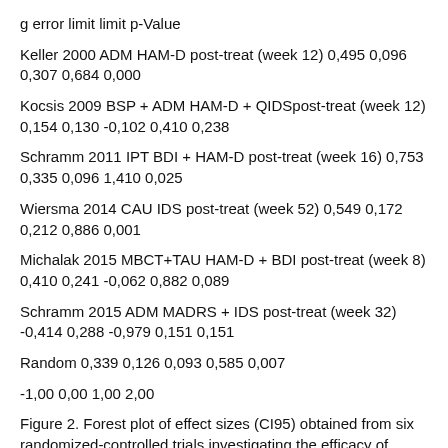g error limit limit p-Value
Keller 2000 ADM HAM-D post-treat (week 12) 0,495 0,096 0,307 0,684 0,000
Kocsis 2009 BSP + ADM HAM-D + QIDSpost-treat (week 12) 0,154 0,130 -0,102 0,410 0,238
Schramm 2011 IPT BDI + HAM-D post-treat (week 16) 0,753 0,335 0,096 1,410 0,025
Wiersma 2014 CAU IDS post-treat (week 52) 0,549 0,172 0,212 0,886 0,001
Michalak 2015 MBCT+TAU HAM-D + BDI post-treat (week 8) 0,410 0,241 -0,062 0,882 0,089
Schramm 2015 ADM MADRS + IDS post-treat (week 32) -0,414 0,288 -0,979 0,151 0,151
Random 0,339 0,126 0,093 0,585 0,007
-1,00 0,00 1,00 2,00
Figure 2. Forest plot of effect sizes (CI95) obtained from six randomized-controlled trials investigating the efficacy of CBASP in chronically depressed individuals